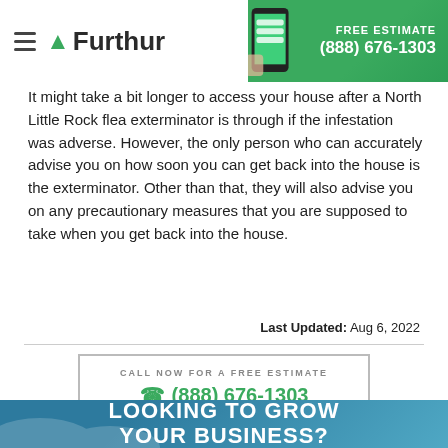Furthur | FREE ESTIMATE (888) 676-1303
It might take a bit longer to access your house after a North Little Rock flea exterminator is through if the infestation was adverse. However, the only person who can accurately advise you on how soon you can get back into the house is the exterminator. Other than that, they will also advise you on any precautionary measures that you are supposed to take when you get back into the house.
Last Updated: Aug 6, 2022
CALL NOW FOR A FREE ESTIMATE
☎ (888) 676-1303
LOOKING TO GROW
YOUR BUSINESS?